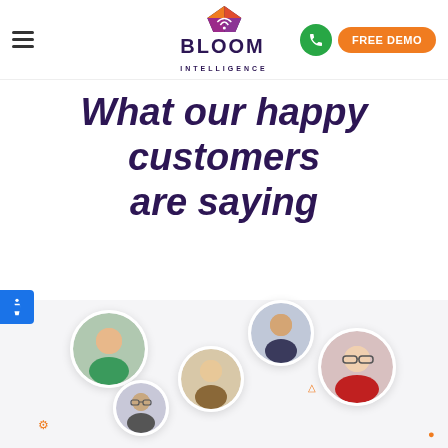Bloom Intelligence — FREE DEMO
What our happy customers are saying
[Figure (photo): Section showing circular customer photo thumbnails on a light background, with decorative orange dot elements. Five customer headshots visible.]